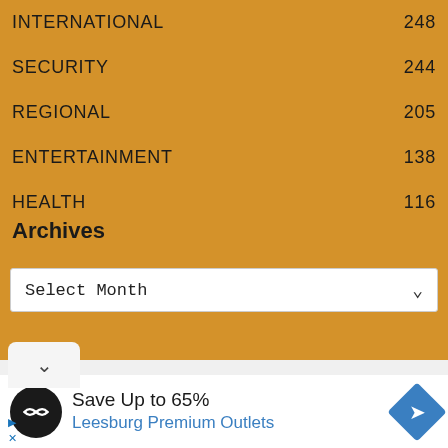INTERNATIONAL  248
SECURITY  244
REGIONAL  205
ENTERTAINMENT  138
HEALTH  116
Archives
Select Month
[Figure (screenshot): Ad banner: Save Up to 65% Leesburg Premium Outlets with logo and navigation arrow icon]